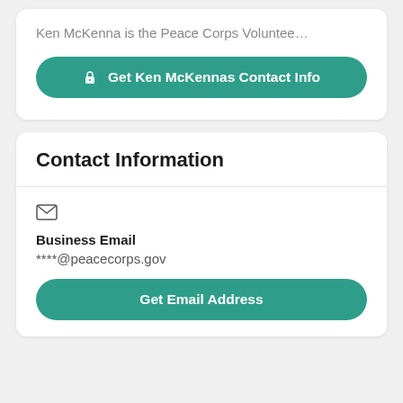Ken McKenna is the Peace Corps Voluntee…
🔒 Get Ken McKennas Contact Info
Contact Information
Business Email
****@peacecorps.gov
Get Email Address